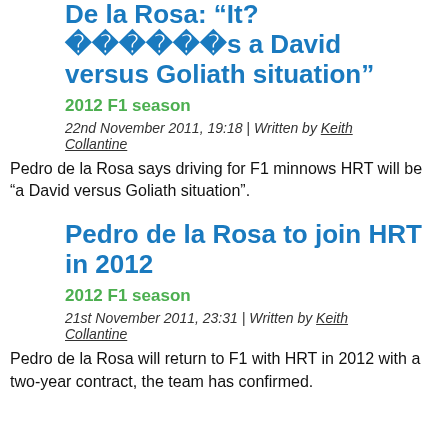De la Rosa: “It? ������s a David versus Goliath situation”
2012 F1 season
22nd November 2011, 19:18 | Written by Keith Collantine
Pedro de la Rosa says driving for F1 minnows HRT will be “a David versus Goliath situation”.
Pedro de la Rosa to join HRT in 2012
2012 F1 season
21st November 2011, 23:31 | Written by Keith Collantine
Pedro de la Rosa will return to F1 with HRT in 2012 with a two-year contract, the team has confirmed.